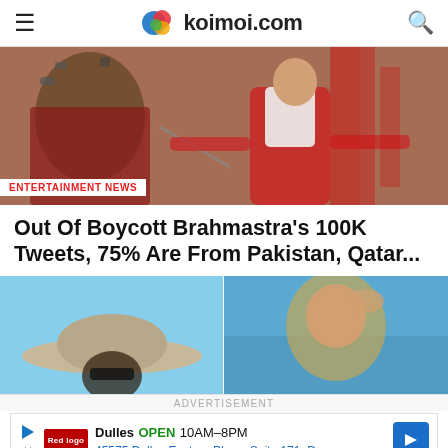koimoi.com
[Figure (photo): Movie scene from Brahmastra showing a man in red jacket with arms outstretched next to a CGI monster character with spikes, ENTERTAINMENT NEWS label overlay]
Out Of Boycott Brahmastra's 100K Tweets, 75% Are From Pakistan, Qatar...
[Figure (photo): Split image showing a person in a wide-brim hat and a blonde woman with hand in hair, outdoor/sky background]
ADVERTISEMENT
Dulles OPEN 10AM–8PM 45575 Dulles Eastern Plaza, Suite 171, D